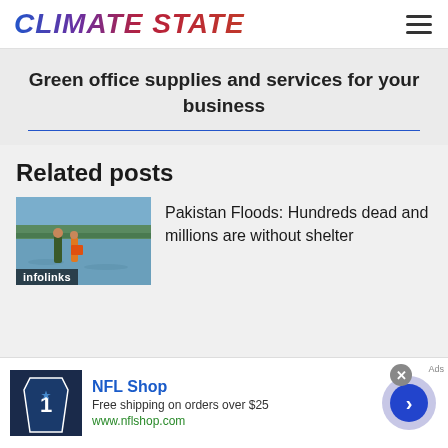CLIMATE STATE
Green office supplies and services for your business
Related posts
[Figure (photo): Flood scene with people wading through water, infolinks badge overlay]
Pakistan Floods: Hundreds dead and millions are without shelter
[Figure (screenshot): NFL Shop advertisement — jersey image, 'Free shipping on orders over $25', www.nflshop.com, close button, arrow button]